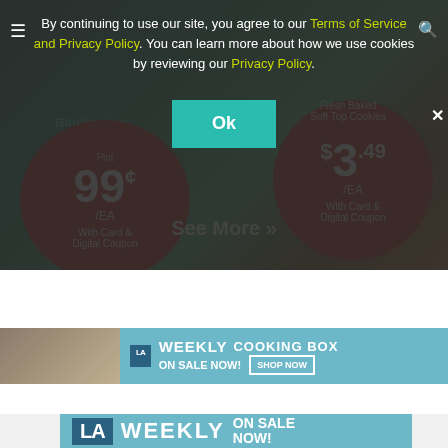[Figure (screenshot): Grocery store weekly ad showing blueberries priced at 99 cents per EA with card and digital coupon, and Fresh Baked Soft Top Cookies at $3.49/EA with card and digital coupon. Background is darkened by a cookie consent modal overlay.]
By continuing to use our site, you agree to our Terms of Service and Privacy Policy. You can learn more about how we use cookies by reviewing our Privacy Policy.
Ok
See More »
[Figure (screenshot): LA Weekly Cooking Box advertisement banner with teal background showing 'LA WEEKLY COOKING BOX ON SALE NOW! SHOP NOW' with a thumbnail of cooking products on the left.]
[Figure (screenshot): LA Weekly larger banner advertisement with teal/blue background showing 'LA WEEKLY ON SALE NOW!' text in white.]